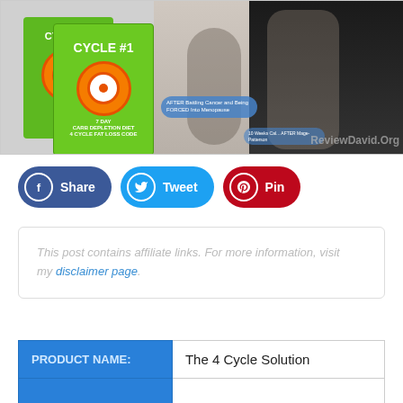[Figure (photo): Promotional image showing two green book boxes labeled 'CYCLE #1 - 7 DAY CARB DEPLETION DIET' with orange target logo, alongside before/after weight loss photos of women.]
Share   Tweet   Pin
This post contains affiliate links. For more information, visit my disclaimer page.
| PRODUCT NAME: | The 4 Cycle Solution |
| --- | --- |
|  |  |